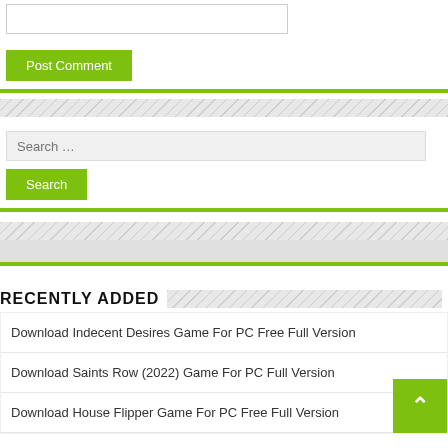[Figure (screenshot): Partial comment text area input box (top of page, cropped)]
Post Comment
Search …
Search
RECENTLY ADDED
Download Indecent Desires Game For PC Free Full Version
Download Saints Row (2022) Game For PC Full Version
Download House Flipper Game For PC Free Full Version